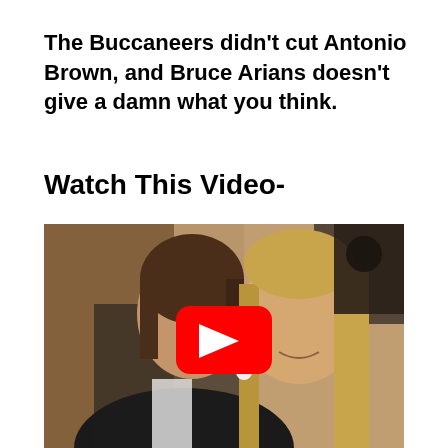The Buccaneers didn't cut Antonio Brown, and Bruce Arians doesn't give a damn what you think.
Watch This Video-
[Figure (photo): Photo of two people at a formal event with a YouTube play button overlay indicating an embedded video.]